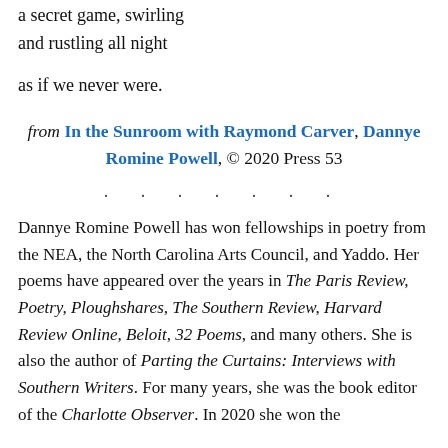a secret game, swirling
and rustling all night

as if we never were.
from In the Sunroom with Raymond Carver, Dannye Romine Powell, © 2020 Press 53
. . . . . . .
Dannye Romine Powell has won fellowships in poetry from the NEA, the North Carolina Arts Council, and Yaddo. Her poems have appeared over the years in The Paris Review, Poetry, Ploughshares, The Southern Review, Harvard Review Online, Beloit, 32 Poems, and many others. She is also the author of Parting the Curtains: Interviews with Southern Writers. For many years, she was the book editor of the Charlotte Observer. In 2020 she won the